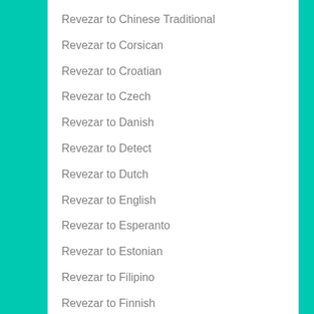Revezar to Chinese Traditional
Revezar to Corsican
Revezar to Croatian
Revezar to Czech
Revezar to Danish
Revezar to Detect
Revezar to Dutch
Revezar to English
Revezar to Esperanto
Revezar to Estonian
Revezar to Filipino
Revezar to Finnish
Revezar to French
Revezar to Frisian